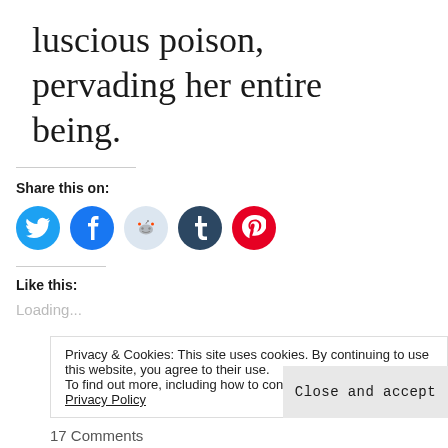luscious poison, pervading her entire being.
Share this on:
[Figure (infographic): Five social media share buttons as colored circles: Twitter (blue), Facebook (dark blue), Reddit (light blue), Tumblr (dark navy), Pinterest (red)]
Like this:
Loading...
Privacy & Cookies: This site uses cookies. By continuing to use this website, you agree to their use. To find out more, including how to control cookies, see here: Privacy Policy
Close and accept
17 Comments